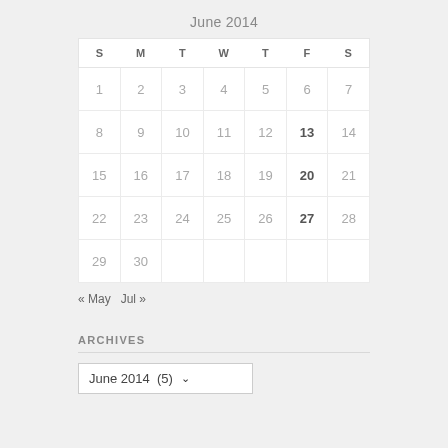June 2014
| S | M | T | W | T | F | S |
| --- | --- | --- | --- | --- | --- | --- |
| 1 | 2 | 3 | 4 | 5 | 6 | 7 |
| 8 | 9 | 10 | 11 | 12 | 13 | 14 |
| 15 | 16 | 17 | 18 | 19 | 20 | 21 |
| 22 | 23 | 24 | 25 | 26 | 27 | 28 |
| 29 | 30 |  |  |  |  |  |
« May   Jul »
ARCHIVES
June 2014  (5)